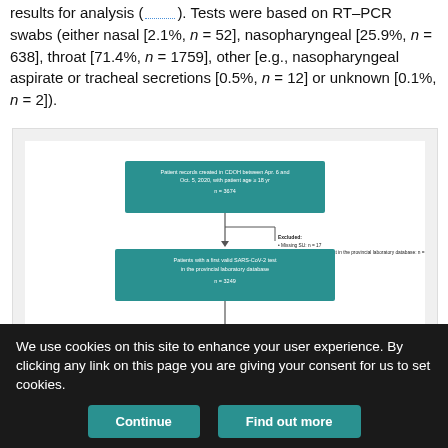results for analysis (···). Tests were based on RT–PCR swabs (either nasal [2.1%, n = 52], nasopharyngeal [25.9%, n = 638], throat [71.4%, n = 1759], other [e.g., nasopharyngeal aspirate or tracheal secretions [0.5%, n = 12] or unknown [0.1%, n = 2]).
[Figure (flowchart): Flowchart showing patient selection process. Top box: Patient records created in CDOH between Apr. 6 and Oct. 5, 2020, with patient age ≥ 18 yr, n = 3674. Excluded: Missing SU n=17, No valid SARS-CoV-2 test in the provincial laboratory database n=390. Second box: Patients with a first valid SARS-CoV-2 test in the provincial laboratory database, n=3249. Split into two branches: Left box: Patients with a positive result for a SARS-CoV-2 swab, n=2294. Excluded: First test before Apr. 13 or after Sept. 20, 2020 n=110; Specimen not collected within 5 d of CDOH. Right box: Patients with a negative result for a SARS-CoV-2 swab, n=985. Excluded: First test before Apr. 13 or after Sept. 20, 2020 n=72; Specimen not collected within 5 d of CDOH.]
We use cookies on this site to enhance your user experience. By clicking any link on this page you are giving your consent for us to set cookies.